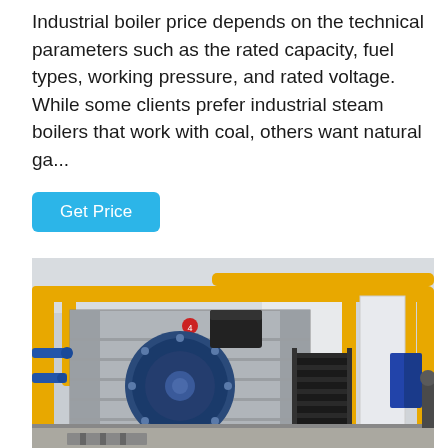Industrial boiler price depends on the technical parameters such as the rated capacity, fuel types, working pressure, and rated voltage. While some clients prefer industrial steam boilers that work with coal, others want natural ga...
Get Price
[Figure (photo): Industrial boiler facility interior showing a large blue circular burner/boiler unit mounted on a rectangular silver boiler body, with yellow gas pipes running along the walls and ceiling, metal staircase on the right side, concrete floor, and additional blue equipment visible in the background.]